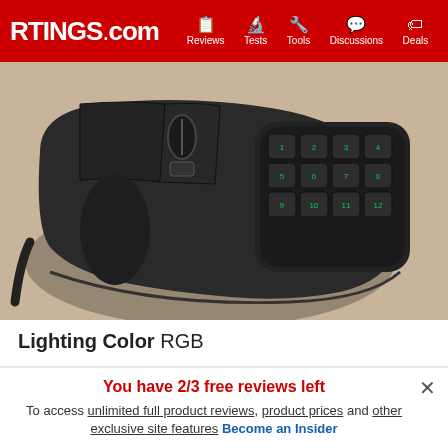RTINGS.com | Reviews | Tests | Tools | Discussions | Deals
[Figure (photo): Close-up photo of a Logitech G600 gaming mouse showing the left side with 12 green-lit programmable buttons arranged in a 4x3 grid, all-black design on a beige background]
Lighting Color  RGB
The Logitech G600 has a sleek, all-black design and has a side panel with 12 additional buttons. These buttons are the only RGB-lit zone of the mouse. Additionally, the mouse has a third-click button
You have 2/3 free reviews left
To access unlimited full product reviews, product prices and other exclusive site features Become an Insider